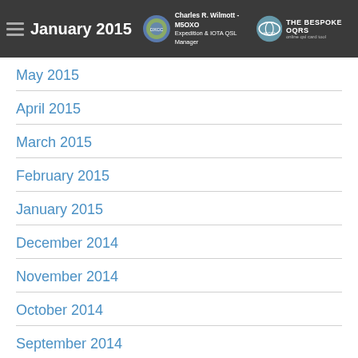January 2015 | Charles R. Wilmott - M5OXO | Expedition & IOTA QSL Manager | THE BESPOKE OQRS
May 2015
April 2015
March 2015
February 2015
January 2015
December 2014
November 2014
October 2014
September 2014